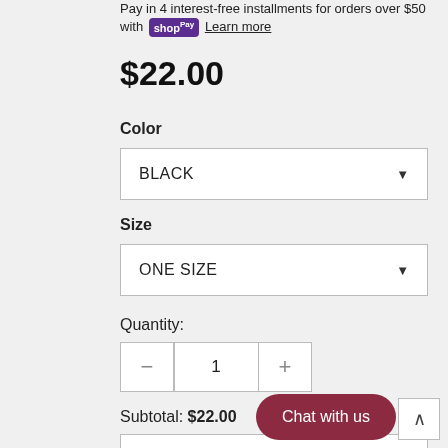Pay in 4 interest-free installments for orders over $50 with shop Pay Learn more
$22.00
Color
BLACK
Size
ONE SIZE
Quantity:
1
Subtotal: $22.00
ADD TO CART
Chat with us